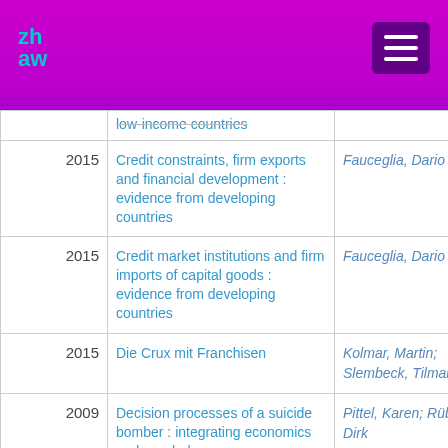ZHAW logo and navigation header
| Year | Title | Author |
| --- | --- | --- |
| 2015 | Credit constraints, firm exports and financial development : evidence from developing countries | Fauceglia, Dario |
| 2015 | Credit market institutions and firm imports of capital goods : evidence from developing countries | Fauceglia, Dario |
| 2015 | Die Crux mit Franchisen | Kolmar, Martin; Slembeck, Tilman |
| 2009 | Decision processes of a suicide bomber : integrating economics and psychology | Pittel, Karen; Rübbelke, Dirk |
| Apr-2015 | Disentangling the Effects of Swiss Energy and Climate | Betz, Regina; Leu, Thomas; |